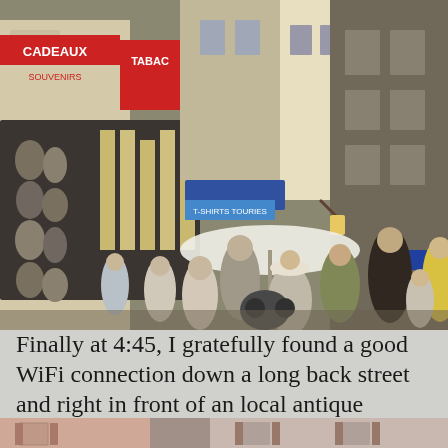[Figure (photo): A busy European street market scene with pedestrians, shops with signs including TABAC and CADEAUX/SOUVENIRS, outdoor market stalls with an umbrella, old stone and plaster buildings lining a narrow street]
Finally at 4:45, I gratefully found a good WiFi connection down a long back street and right in front of an local antique
[Figure (photo): Partial view of European building facades showing pink/salmon colored plastered walls with shuttered windows]